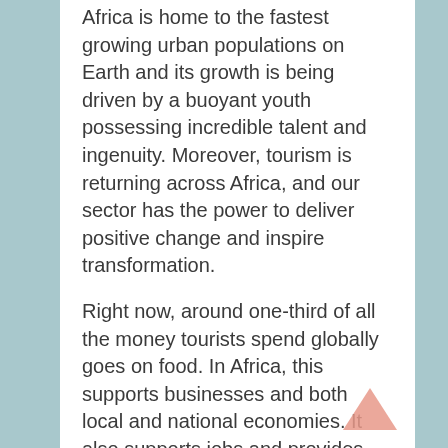Africa is home to the fastest growing urban populations on Earth and its growth is being driven by a buoyant youth possessing incredible talent and ingenuity. Moreover, tourism is returning across Africa, and our sector has the power to deliver positive change and inspire transformation.
Right now, around one-third of all the money tourists spend globally goes on food. In Africa, this supports businesses and both local and national economies. It also supports jobs and provides opportunities, most notably for women, for youth and for many people living in rural areas. But this enormous potential is yet to be fully realized.
We need to invest in human capital as a main pillar of recovery, giving people capacity, skills